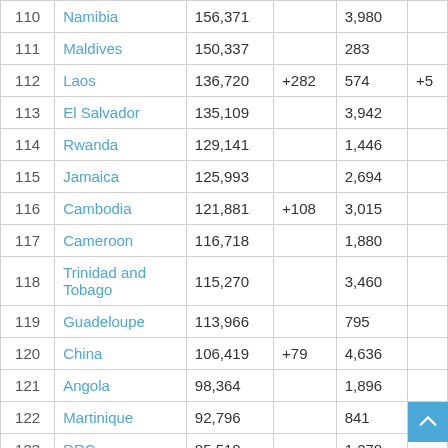| # | Country | Total Cases | New Cases | Total Deaths | New Deaths |
| --- | --- | --- | --- | --- | --- |
| 110 | Namibia | 156,371 |  | 3,980 |  |
| 111 | Maldives | 150,337 |  | 283 |  |
| 112 | Laos | 136,720 | +282 | 574 | +5 |
| 113 | El Salvador | 135,109 |  | 3,942 |  |
| 114 | Rwanda | 129,141 |  | 1,446 |  |
| 115 | Jamaica | 125,993 |  | 2,694 |  |
| 116 | Cambodia | 121,881 | +108 | 3,015 |  |
| 117 | Cameroon | 116,718 |  | 1,880 |  |
| 118 | Trinidad and Tobago | 115,270 |  | 3,460 |  |
| 119 | Guadeloupe | 113,966 |  | 795 |  |
| 120 | China | 106,419 | +79 | 4,636 |  |
| 121 | Angola | 98,364 |  | 1,896 |  |
| 122 | Martinique | 92,796 |  | 841 |  |
| 123 | DRC | 85,510 |  | 1,278 |  |